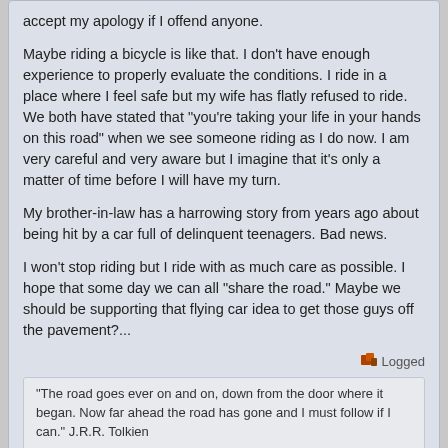accept my apology if I offend anyone.

Maybe riding a bicycle is like that.  I don't have enough experience to properly evaluate the conditions.  I ride in a place where I feel safe but my wife has flatly refused to ride.  We both have stated that "you're taking your life in your hands on this road" when we see someone riding as I do now.  I am very careful and very aware but I imagine that it's only a matter of time before I will have my turn.

My brother-in-law has a harrowing story from years ago about being hit by a car full of delinquent teenagers.  Bad news.

I won't stop riding but I ride with as much care as possible.  I hope that some day we can all "share the road."  Maybe we should be supporting that flying car idea to get those guys off the pavement?...
Logged
"The road goes ever on and on, down from the door where it began.  Now far ahead the road has gone and I must follow if I can."  J.R.R. Tolkien
litespeed
View Profile
« Reply #7 on: February 16, 2011, 06:10:48 pm »